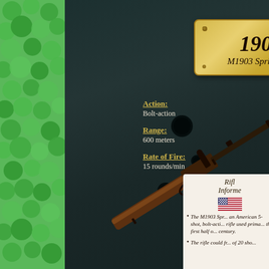[Figure (illustration): Green decorative left panel with clover/bubble pattern in shades of green]
[Figure (illustration): Dark teal/wood background panel with bullet holes, showing an M1903 Springfield rifle diagonally, a gold name plaque reading '1903 M1903 Springfield', stats text, and a partial info card in bottom right]
1903 M1903 Springfield
Action: Bolt-action
Range: 600 meters
Rate of Fire: 15 rounds/min
Rifle Information
The M1903 Spr... an American 5-shot, bolt-acti... rifle used prima... the first half o... century.
The rifle could fr... of 20 sho...